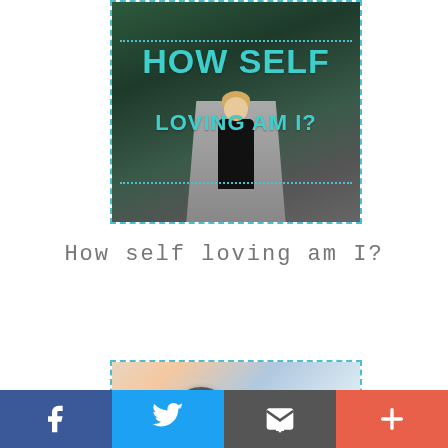[Figure (photo): Photo of a woman with her back turned, standing on a road surrounded by trees, with teal text overlay reading 'HOW SELF LOVING AM I?' and dotted border lines. Dashed blue border around the image.]
How self loving am I?
[Figure (photo): Close-up photo of a magnifying glass held in a hand with blurred background, with dashed blue border.]
Facebook | Twitter | Email | More (social share bar)